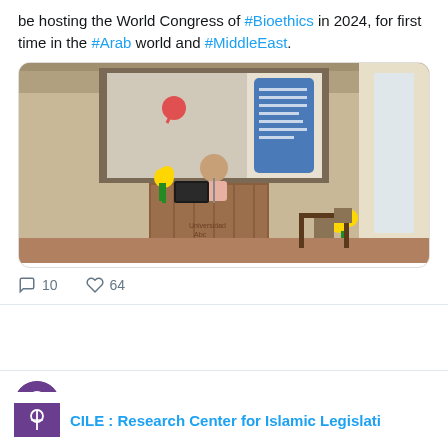be hosting the World Congress of #Bioethics in 2024, for first time in the #Arab world and #MiddleEast.
[Figure (photo): A speaker at a podium in a conference hall with sunflowers and a projected presentation slide showing a map/location pin and text]
💬 10  ♡ 64
CILE Center ✓ @CILE_Center · Aug 7
CILE : Research Center for Islamic Legislati...